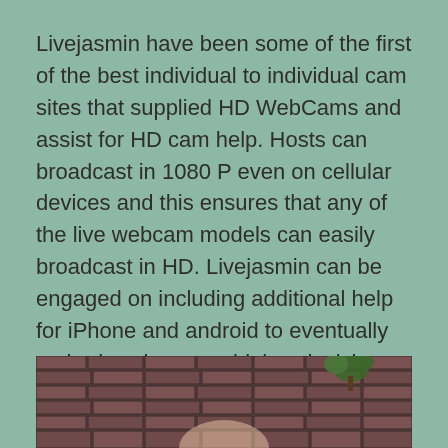Livejasmin have been some of the first of the best individual to individual cam sites that supplied HD WebCams and assist for HD cam help. Hosts can broadcast in 1080 P even on cellular devices and this ensures that any of the live webcam models can easily broadcast in HD. Livejasmin can be engaged on including additional help for iPhone and android to eventually embody using even higher decision picture and sound on their cams.
[Figure (photo): A photograph showing a person in front of a brick wall with a plant decoration visible in the upper right area. The image is cropped and only the top portion is visible at the bottom of the page.]